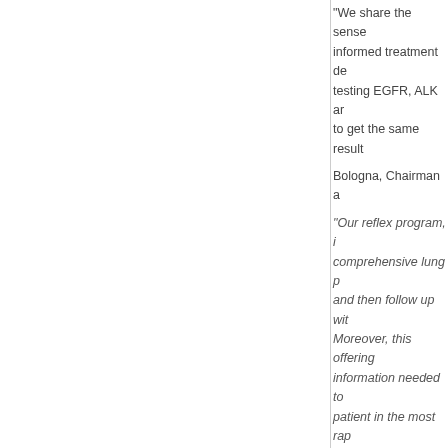"We share the sense informed treatment de testing EGFR, ALK ar to get the same result
Bologna, Chairman a
"Our reflex program, i comprehensive lung p and then follow up wit Moreover, this offering information needed to patient in the most rap
RGDX | Recent Head
RESPONSE Principal Offic 1)
Response Ge Next Generat OfferingGlob
RESPONSE